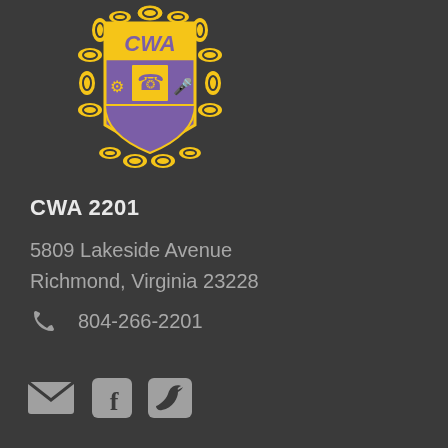[Figure (logo): CWA (Communications Workers of America) union shield logo in gold and purple, featuring chain border, CWA text at top, and icons for technology workers including telephone and microphone]
CWA 2201
5809 Lakeside Avenue
Richmond, Virginia 23228
804-266-2201
[Figure (infographic): Social media icons: email envelope, Facebook logo, Twitter bird logo, all in grey]